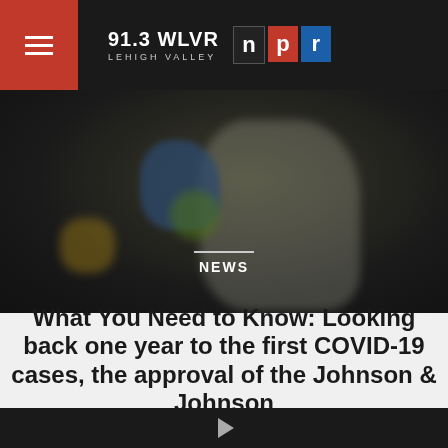91.3 WLVR LEHIGH VALLEY NPR
[Figure (photo): A blurred photo of a medical worker in protective gear and blue gloves, appearing to handle medical equipment. The image is dark with a NEWS label overlaid in the center.]
What You Need to Know: Looking back one year to the first COVID-19 cases, the approval of the Johnson & Johnson
Play button / audio player bar